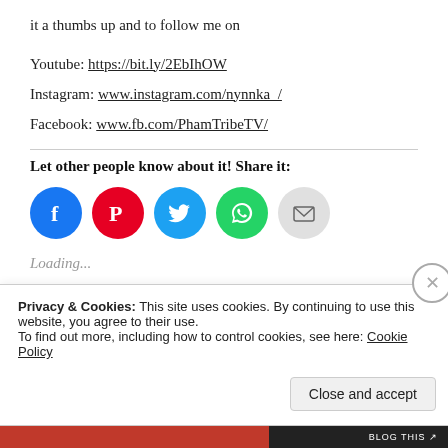it a thumbs up and to follow me on
Youtube: https://bit.ly/2EbIhOW
Instagram: www.instagram.com/nynnka_/
Facebook: www.fb.com/PhamTribeTV/
Let other people know about it! Share it:
[Figure (infographic): Row of social share icon circles: Facebook (blue), Pinterest (red), Twitter (light blue), WhatsApp (green), Email (grey)]
Loading...
Privacy & Cookies: This site uses cookies. By continuing to use this website, you agree to their use.
To find out more, including how to control cookies, see here: Cookie Policy
Close and accept